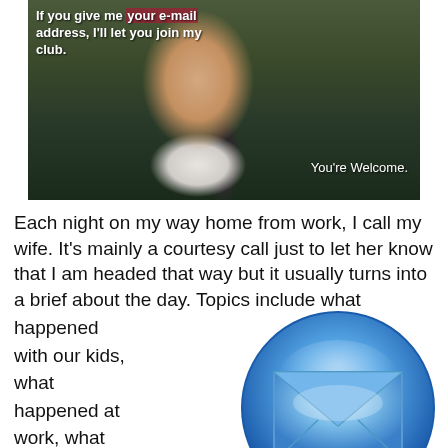[Figure (photo): Meme image of a man in a dark suit and tie with text overlay: 'If you give me your e-mail address, I'll let you join my club.' and 'You're Welcome.']
Each night on my way home from work, I call my wife. It's mainly a courtesy call just to let her know that I am headed that way but it usually turns into a brief about the day. Topics include what happened with our kids, what happened at work, what happenings we have coming up and shopping.
[Figure (illustration): Blue glossy circular email envelope icon]